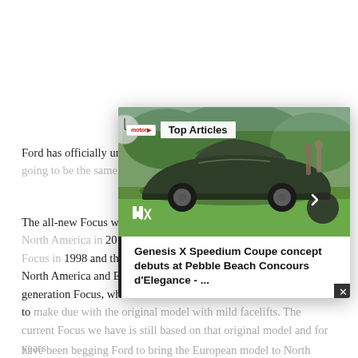Ford has officially un[veiled the fourth generation Focus, and it's going to be the same] ...
The all-new Focus wi[ll go on sale] simultaneously in Eu[rope and North America in] 2011, as a 2012 mod[el. Previously, Ford sold the Focus in] 1998 and the US a y[ear later, and it started out the same in] North America and Europe, but in 2004 Europeans got a second generation Focus, while those of us on this side of the Atlantic had to make due with the original model with mild facelifts. The current Focus we have is still based on that original model and for years [we] have been begging Ford to bring the European model to North ...
[Figure (photo): Overlay card showing a dark green Genesis X Speedium Coupe concept car on a lawn at Pebble Beach. The card has a 'Top Articles' label at the top, video playback controls (pause and mute icons), a next arrow button, and a headline below the image.]
Genesis X Speedium Coupe concept debuts at Pebble Beach Concours d'Elegance - ...